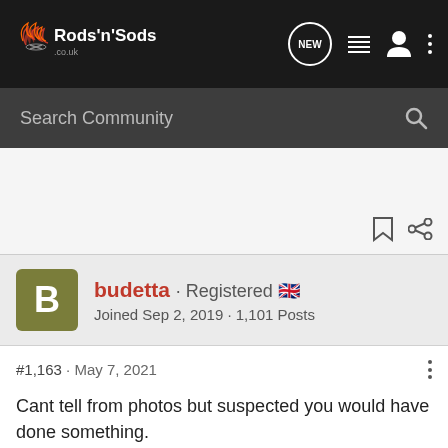Rods 'n' Sods - Search Community
budetta · Registered 🇬🇧
Joined Sep 2, 2019 · 1,101 Posts
#1,163 · May 7, 2021
Cant tell from photos but suspected you would have done something.